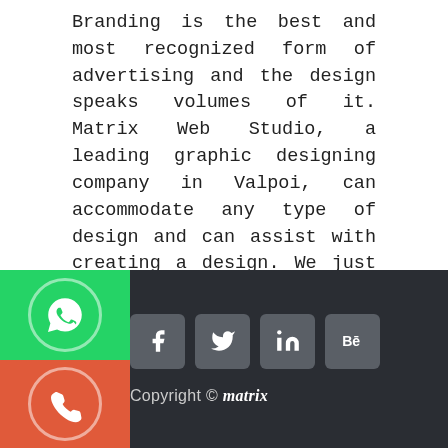Branding is the best and most recognized form of advertising and the design speaks volumes of it. Matrix Web Studio, a leading graphic designing company in Valpoi, can accommodate any type of design and can assist with creating a design. We just have to be contacted and briefed about the idea, and the design would be readied within specific time.
Contact us for an enchanting design that helps improve your brand image and identity.
Copyright © matrix